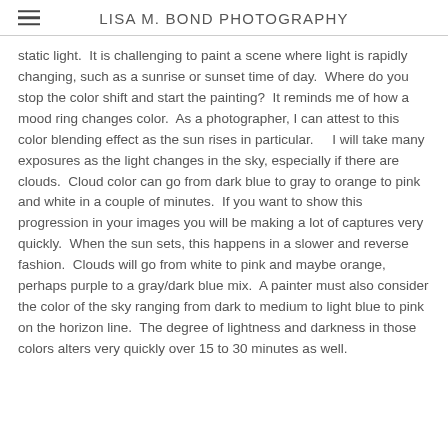LISA M. BOND PHOTOGRAPHY
static light.  It is challenging to paint a scene where light is rapidly changing, such as a sunrise or sunset time of day.  Where do you stop the color shift and start the painting?  It reminds me of how a mood ring changes color.  As a photographer, I can attest to this color blending effect as the sun rises in particular.    I will take many exposures as the light changes in the sky, especially if there are clouds.  Cloud color can go from dark blue to gray to orange to pink and white in a couple of minutes.  If you want to show this progression in your images you will be making a lot of captures very quickly.  When the sun sets, this happens in a slower and reverse fashion.  Clouds will go from white to pink and maybe orange, perhaps purple to a gray/dark blue mix.  A painter must also consider the color of the sky ranging from dark to medium to light blue to pink on the horizon line.  The degree of lightness and darkness in those colors alters very quickly over 15 to 30 minutes as well.